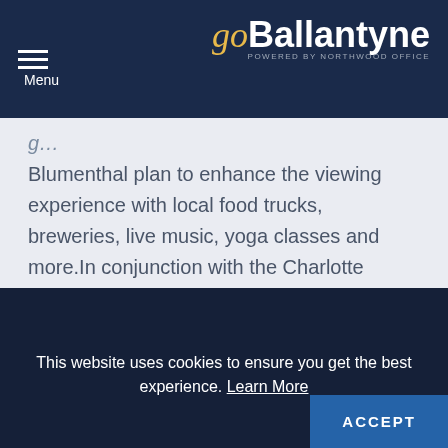Menu | goBallantyne POWERED BY NORTHWOOD OFFICE
Blumenthal plan to enhance the viewing experience with local food trucks, breweries, live music, yoga classes and more.In conjunction with the Charlotte International Arts Festival, Blumenthal Performing Arts will bring two larger-than-life installations to Ballantyne’s Backyard. “Man” by Parer Studio will be positioned overlooking a pond, and Architects of Air’s inflatable, immersive luminarium…
This website uses cookies to ensure you get the best experience. Learn More ACCEPT